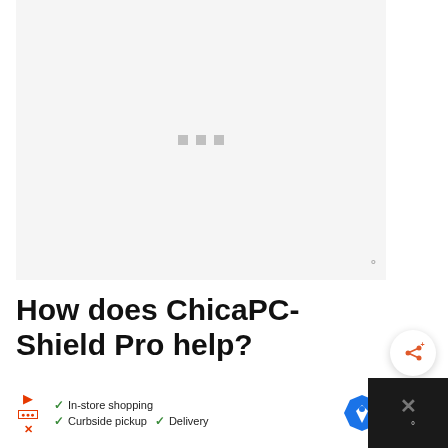[Figure (other): Loading placeholder image area with three small gray squares centered, on a light gray background]
How does ChicaPC-Shield Pro help?
[Figure (other): Share button icon (orange share symbol with plus) in a white circular button]
[Figure (other): Advertisement banner: Play button, logo, In-store shopping, Curbside pickup, Delivery checkmarks, map icon, and close/watermark panel]